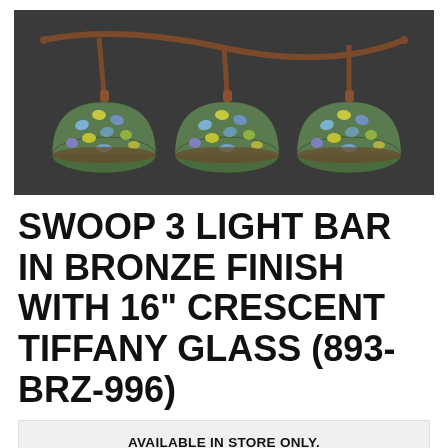[Figure (photo): A Swoop 3 Light Bar pendant light fixture in bronze finish with three Tiffany-style mosaic glass dome shades in blue, green, and yellow tones, hanging against a dark gray background.]
SWOOP 3 LIGHT BAR IN BRONZE FINISH WITH 16" CRESCENT TIFFANY GLASS (893-BRZ-996)
AVAILABLE IN STORE ONLY. FOR MORE INFORMATION ABOUT THIS PRODUCT, PLEASE CALL 610-833-5100 OR ASK US A QUESTION